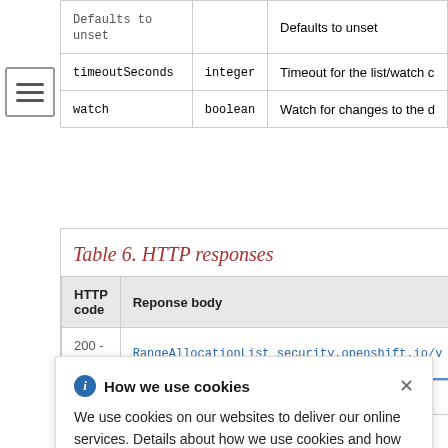|  |  |  |
| --- | --- | --- |
| timeoutSeconds | integer | Timeout for the list/watch c |
| watch | boolean | Watch for changes to the d |
Table 6. HTTP responses
| HTTP code | Reponse body |
| --- | --- |
| 200 - OK | RangeAllocationList security.openshift.io/v |
How we use cookies
We use cookies on our websites to deliver our online services. Details about how we use cookies and how you may disable them are set out in our Privacy Statement. By using this website you agree to our use of cookies.
Table 7. Query parameters